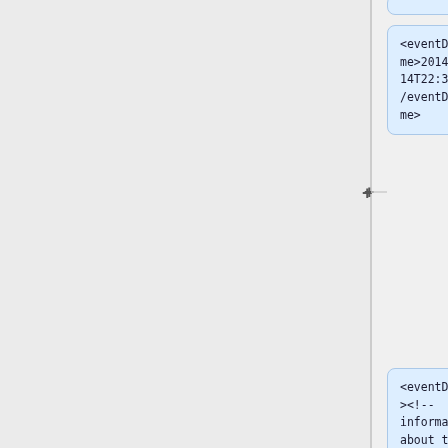[Figure (schematic): XML schema diagram showing three XML code blocks with plus expand icons on a vertical connector line. Three light blue rounded boxes showing XML elements: eventDateTime with value 2014-01-14T22:31:22, eventDetail with comment placeholder, and eventOutcomeInformation with opening tag.]